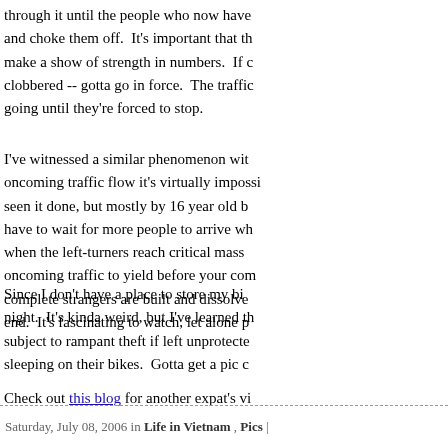through it until the people who now have and choke them off.  It's important that th make a show of strength in numbers.  If c clobbered -- gotta go in force.  The traffic going until they're forced to stop.
I've witnessed a similar phenomenon wit oncoming traffic flow it's virtually impossib seen it done, but mostly by 16 year old b have to wait for more people to arrive wh when the left-turners reach critical mass oncoming traffic to yield before your com complete strangers are built and dissolve end.  It's fascinating to watch, let alone p
Since I don't have a place to store my bi night.  It's kinda weird, but I've learned th subject to rampant theft if left unprotecte sleeping on their bikes.  Gotta get a pic c
Check out this blog for another expat's vi
Saturday, July 08, 2006 in Life in Vietnam , Pics |